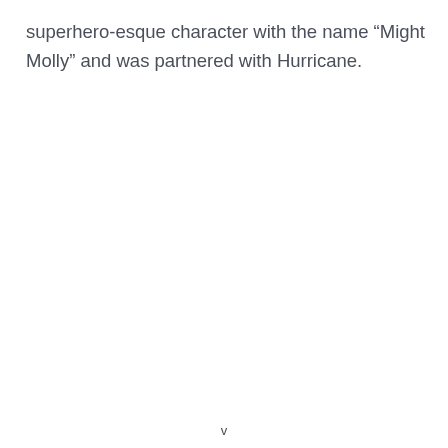superhero-esque character with the name “Might Molly” and was partnered with Hurricane.
v